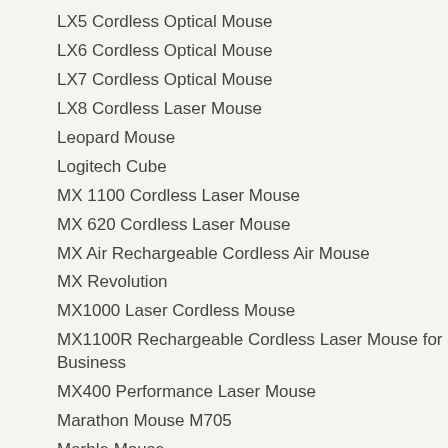LX5 Cordless Optical Mouse
LX6 Cordless Optical Mouse
LX7 Cordless Optical Mouse
LX8 Cordless Laser Mouse
Leopard Mouse
Logitech Cube
MX 1100 Cordless Laser Mouse
MX 620 Cordless Laser Mouse
MX Air Rechargeable Cordless Air Mouse
MX Revolution
MX1000 Laser Cordless Mouse
MX1100R Rechargeable Cordless Laser Mouse for Business
MX400 Performance Laser Mouse
Marathon Mouse M705
Marble Mouse
Media Keyboard
Media Keyboard
Media Keyboard 600
Media Keyboard Elite
MediaPlay Cordless Mouse